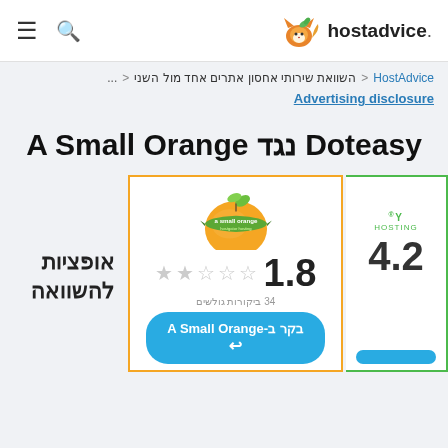hostadvice.
HostAdvice < השוואת שירותי אחסון אתרים אחד מול השני < ...
Advertising disclosure
A Small Orange נגד Doteasy
[Figure (logo): A Small Orange logo - orange fruit with green leaf and green banner ribbon reading 'a small orange hostgator hosting', rating 1.8 stars with 34 reviews]
אופציות להשוואה
בקר ב-A Small Orange